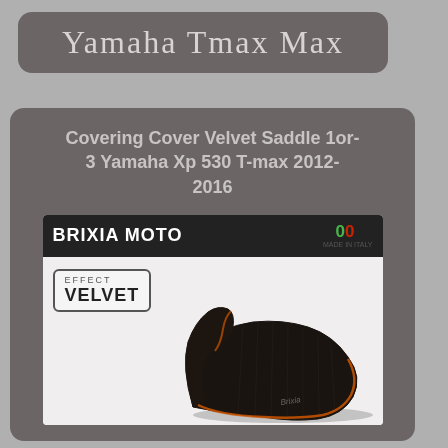Yamaha Tmax Max
Covering Cover Velvet Saddle 1or-3 Yamaha Xp 530 T-max 2012-2016
[Figure (photo): Brixia Moto product image showing a black velvet effect saddle cover for Yamaha T-max, with orange trim piping. The image includes a 'BRIXIA MOTO' header bar, '100% MADE IN ITALY' badge, and an 'EFFECT VELVET' label badge.]